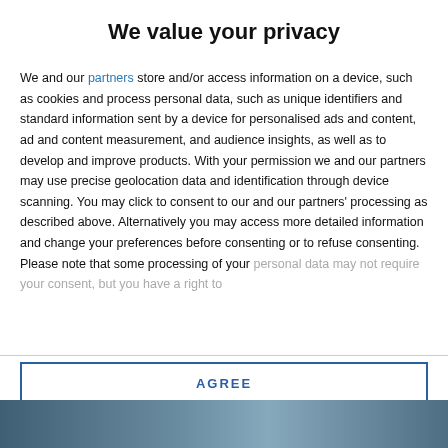We value your privacy
We and our partners store and/or access information on a device, such as cookies and process personal data, such as unique identifiers and standard information sent by a device for personalised ads and content, ad and content measurement, and audience insights, as well as to develop and improve products. With your permission we and our partners may use precise geolocation data and identification through device scanning. You may click to consent to our and our partners' processing as described above. Alternatively you may access more detailed information and change your preferences before consenting or to refuse consenting. Please note that some processing of your personal data may not require your consent, but you have a right to
AGREE
MORE OPTIONS
[Figure (photo): Background image of people visible at the bottom of the page]